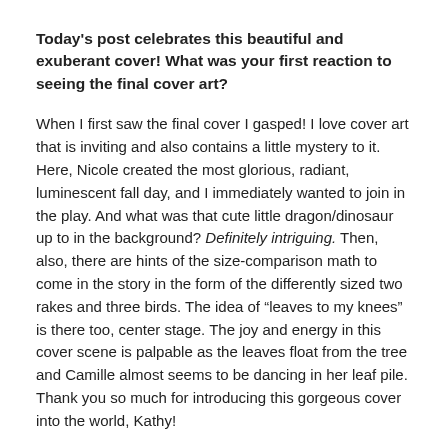Today's post celebrates this beautiful and exuberant cover! What was your first reaction to seeing the final cover art?
When I first saw the final cover I gasped! I love cover art that is inviting and also contains a little mystery to it. Here, Nicole created the most glorious, radiant, luminescent fall day, and I immediately wanted to join in the play. And what was that cute little dragon/dinosaur up to in the background? Definitely intriguing. Then, also, there are hints of the size-comparison math to come in the story in the form of the differently sized two rakes and three birds. The idea of “leaves to my knees” is there too, center stage. The joy and energy in this cover scene is palpable as the leaves float from the tree and Camille almost seems to be dancing in her leaf pile. Thank you so much for introducing this gorgeous cover into the world, Kathy!
Do you have another favorite spread in the book? Why is this one special to you?